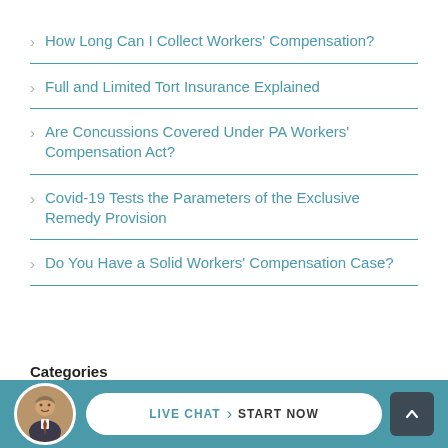How Long Can I Collect Workers' Compensation?
Full and Limited Tort Insurance Explained
Are Concussions Covered Under PA Workers' Compensation Act?
Covid-19 Tests the Parameters of the Exclusive Remedy Provision
Do You Have a Solid Workers' Compensation Case?
Categories
[Figure (infographic): Bottom bar with circular avatar photo of a man in suit, a live chat button with LIVE CHAT and START NOW text, and a scroll-to-top button]